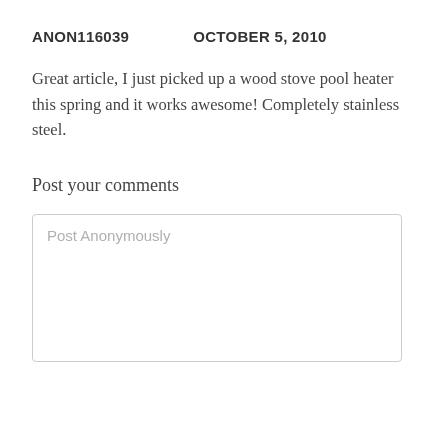ANON116039        OCTOBER 5, 2010
Great article, I just picked up a wood stove pool heater this spring and it works awesome! Completely stainless steel.
Post your comments
Post Anonymously